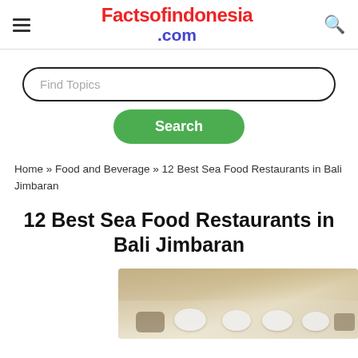Factsofindonesia.com
Find Topics
Search
Home » Food and Beverage » 12 Best Sea Food Restaurants in Bali Jimbaran
12 Best Sea Food Restaurants in Bali Jimbaran
[Figure (photo): Photo of seafood dishes served on a beachside table with bowls and condiments on a sandy surface]